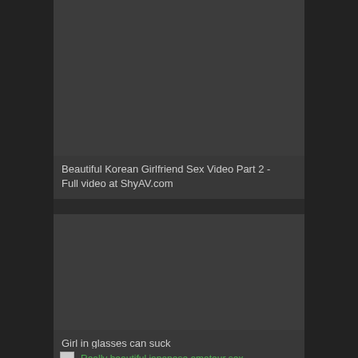[Figure (screenshot): Dark thumbnail placeholder for video card 1]
Beautiful Korean Girlfriend Sex Video Part 2 - Full video at ShyAV.com
[Figure (screenshot): Dark thumbnail placeholder for video card 2]
Girl in glasses can suck
[Figure (screenshot): Broken image thumbnail with green link text: Really beautiful japanese amateur sex -]